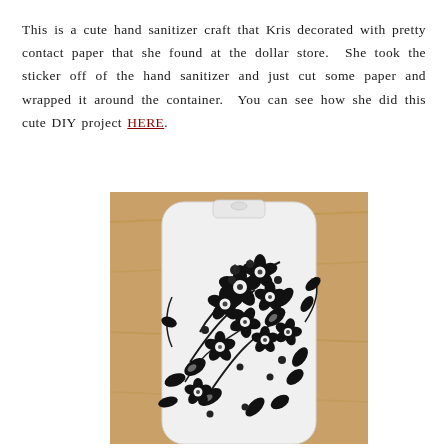This is a cute hand sanitizer craft that Kris decorated with pretty contact paper that she found at the dollar store. She took the sticker off of the hand sanitizer and just cut some paper and wrapped it around the container. You can see how she did this cute DIY project HERE.
[Figure (photo): A white flat hand sanitizer spray container wrapped with black and white floral contact paper featuring flowers and leaves, placed on a wooden surface.]